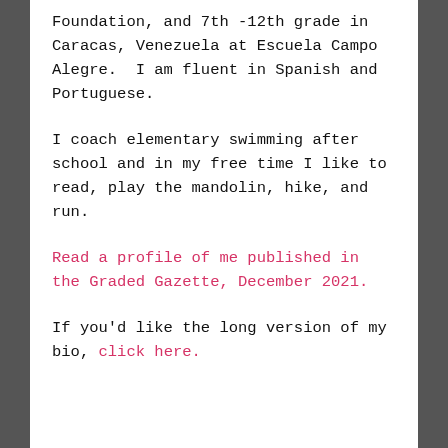Foundation, and 7th -12th grade in Caracas, Venezuela at Escuela Campo Alegre.  I am fluent in Spanish and Portuguese.
I coach elementary swimming after school and in my free time I like to read, play the mandolin, hike, and run.
Read a profile of me published in the Graded Gazette, December 2021.
If you'd like the long version of my bio, click here.